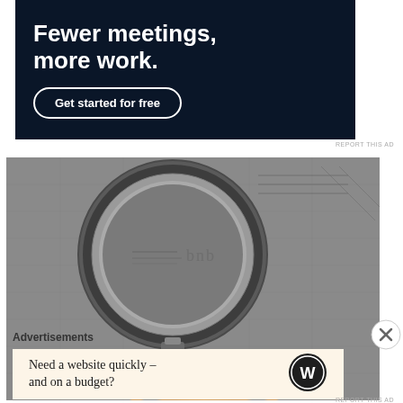[Figure (other): Dark navy advertisement banner with large white bold text 'Fewer meetings, more work.' and a white-outlined rounded rectangle button labeled 'Get started for free']
REPORT THIS AD
[Figure (photo): Close-up photograph of an open compact makeup mirror/powder case on a textured gray fabric background. The circular mirror lid is open showing a reflective ring, and the bottom portion shows a tan/golden pressed powder.]
Advertisements
[Figure (other): WordPress advertisement widget on pale orange/cream background: 'Need a website quickly – and on a budget?' with WordPress logo circle icon on the right]
REPORT THIS AD